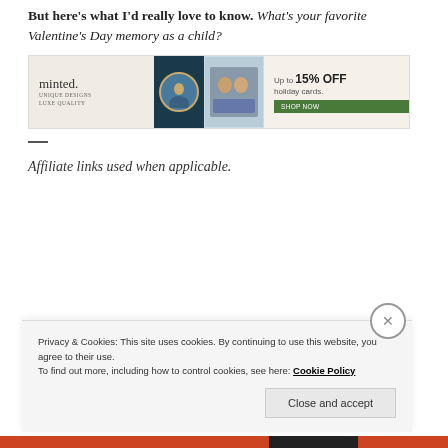But here's what I'd really love to know. What's your favorite Valentine's Day memory as a child?
[Figure (photo): Minted advertisement banner showing holiday cards offer: Up to 15% OFF holiday cards. SHOP NOW button.]
—
Affiliate links used when applicable.
Privacy & Cookies: This site uses cookies. By continuing to use this website, you agree to their use. To find out more, including how to control cookies, see here: Cookie Policy Close and accept